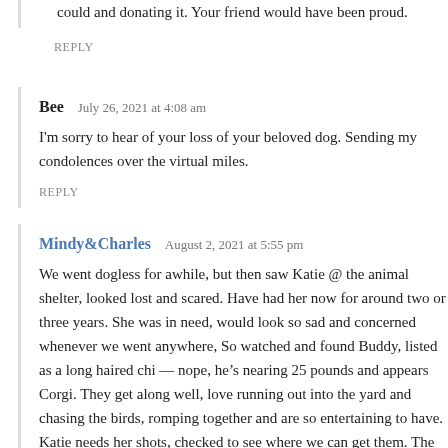could and donating it. Your friend would have been proud.
REPLY
Bee   July 26, 2021 at 4:08 am
I'm sorry to hear of your loss of your beloved dog. Sending my condolences over the virtual miles.
REPLY
Mindy&Charles   August 2, 2021 at 5:55 pm
We went dogless for awhile, but then saw Katie @ the animal shelter, looked lost and scared. Have had her now for around two or three years. She was in need, would look so sad and concerned whenever we went anywhere, So watched and found Buddy, listed as a long haired chi — nope, he's nearing 25 pounds and appears Corgi. They get along well, love running out into the yard and chasing the birds, romping together and are so entertaining to have. Katie needs her shots, checked to see where we can get them. The rabies must be administered by a vet, and feed& seed has the other shots, which I can give. Total cost under $20. We add of table food to their bagged food, and it works well. In home hugs, kisses